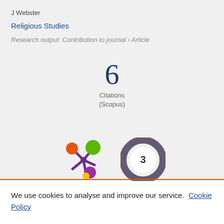J Webster
Religious Studies
Research output: Contribution to journal › Article
[Figure (infographic): Citation count: 6 Citations (Scopus)]
[Figure (logo): Altmetric splash logo (colorful dots) and a circular donut badge showing the number 3]
We use cookies to analyse and improve our service. Cookie Policy